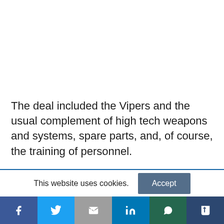The deal included the Vipers and the usual complement of high tech weapons and systems, spare parts, and, of course, the training of personnel.
This website uses cookies.
Social sharing bar: Facebook, Twitter, Email, LinkedIn, WhatsApp, Tumblr